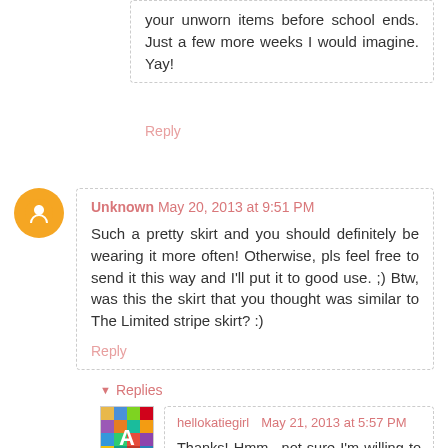your unworn items before school ends. Just a few more weeks I would imagine. Yay!
Reply
Unknown May 20, 2013 at 9:51 PM
Such a pretty skirt and you should definitely be wearing it more often! Otherwise, pls feel free to send it this way and I'll put it to good use. ;) Btw, was this the skirt that you thought was similar to The Limited stripe skirt? :)
Reply
Replies
hellokatiegirl May 21, 2013 at 5:57 PM
Thanks! Hmm.. not sure I'm willing to part